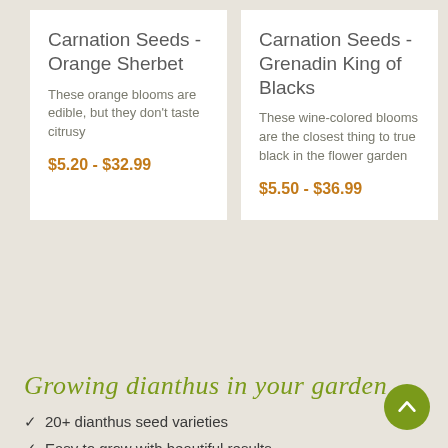Carnation Seeds - Orange Sherbet
These orange blooms are edible, but they don't taste citrusy
$5.20 - $32.99
Carnation Seeds - Grenadin King of Blacks
These wine-colored blooms are the closest thing to true black in the flower garden
$5.50 - $36.99
Growing dianthus in your garden
20+ dianthus seed varieties
Easy to grow with beautiful results
Comes in a variety of colors and blooms